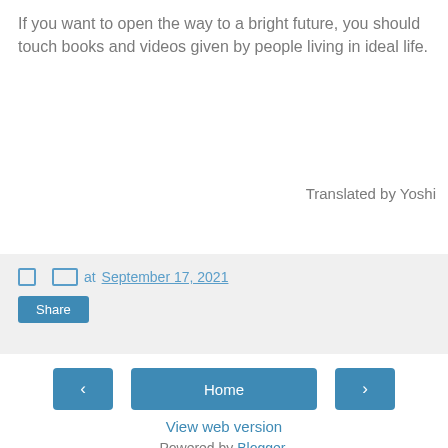If you want to open the way to a bright future, you should touch books and videos given by people living in ideal life.
Translated by Yoshi
at September 17, 2021
Share
‹
Home
›
View web version
Powered by Blogger.